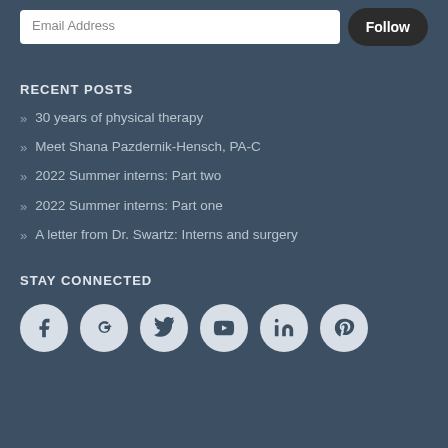Email Address | Follow
RECENT POSTS
30 years of physical therapy
Meet Shana Pazdernik-Hensch, PA-C
2022 Summer interns: Part two
2022 Summer interns: Part one
A letter from Dr. Swartz: Interns and surgery
STAY CONNECTED
[Figure (other): Social media icons: Facebook, Google+, Twitter, YouTube, LinkedIn, Pinterest]